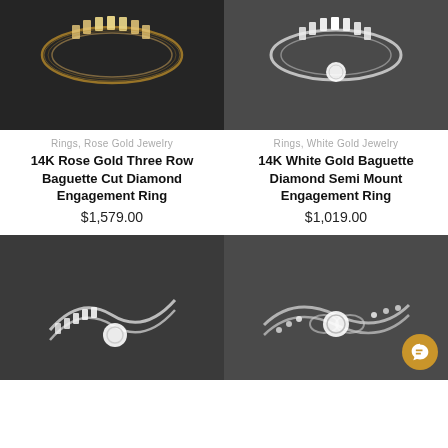[Figure (photo): 14K Rose Gold Three Row Baguette Cut Diamond Engagement Ring product photo on dark background]
[Figure (photo): 14K White Gold Baguette Diamond Semi Mount Engagement Ring product photo on dark background]
Rings, Rose Gold Jewelry
14K Rose Gold Three Row Baguette Cut Diamond Engagement Ring
$1,579.00
Rings, White Gold Jewelry
14K White Gold Baguette Diamond Semi Mount Engagement Ring
$1,019.00
[Figure (photo): Diamond engagement ring with baguette cut stones in white gold on dark background]
[Figure (photo): Diamond engagement ring with round center stone and infinity band in white gold on dark background]